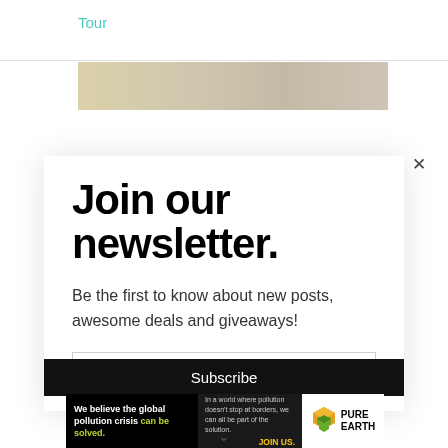Tour
[Figure (photo): Partial view of an interior room photo behind the modal overlay]
Join our newsletter.
Be the first to know about new posts, awesome deals and giveaways!
Email address
Subscribe
[Figure (infographic): Pure Earth advertisement banner. Text: 'We believe the global pollution crisis can be solved.' and 'In a world where pollution doesn't stop at borders, we can all be part of the solution. JOIN US.' with Pure Earth logo.]